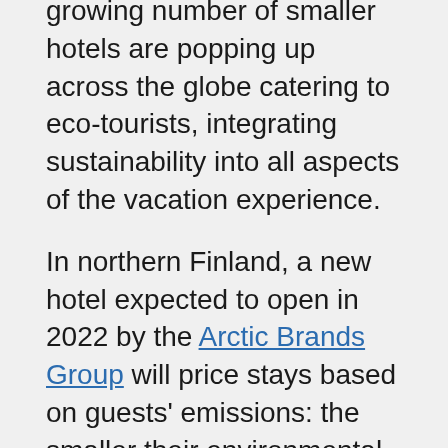growing number of smaller hotels are popping up across the globe catering to eco-tourists, integrating sustainability into all aspects of the vacation experience.
In northern Finland, a new hotel expected to open in 2022 by the Arctic Brands Group will price stays based on guests' emissions: the smaller their environmental impact, the less they will pay. Visitors of the resort can influence the cost of their stay by consuming less energy, attending ecological activities and making sustainable dietary choices.
The hotel — which will be known as Blue Resort — is expected to be self-sustaining, built with natural